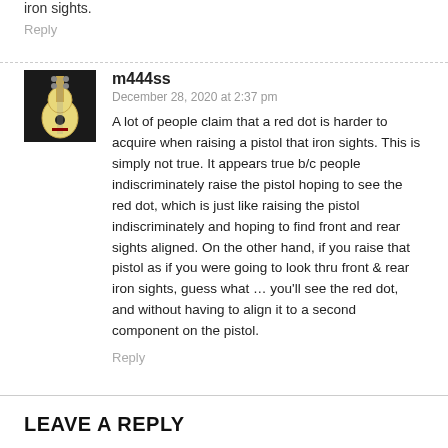iron sights.
Reply
m444ss
December 28, 2020 at 2:37 pm
A lot of people claim that a red dot is harder to acquire when raising a pistol that iron sights. This is simply not true. It appears true b/c people indiscriminately raise the pistol hoping to see the red dot, which is just like raising the pistol indiscriminately and hoping to find front and rear sights aligned. On the other hand, if you raise that pistol as if you were going to look thru front & rear iron sights, guess what … you'll see the red dot, and without having to align it to a second component on the pistol.
Reply
LEAVE A REPLY